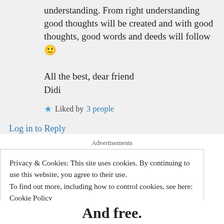understanding. From right understanding good thoughts will be created and with good thoughts, good words and deeds will follow 🙂

All the best, dear friend
Didi
★ Liked by 3 people
Log in to Reply
Advertisements
Privacy & Cookies: This site uses cookies. By continuing to use this website, you agree to their use.
To find out more, including how to control cookies, see here: Cookie Policy
Close and accept
And free.